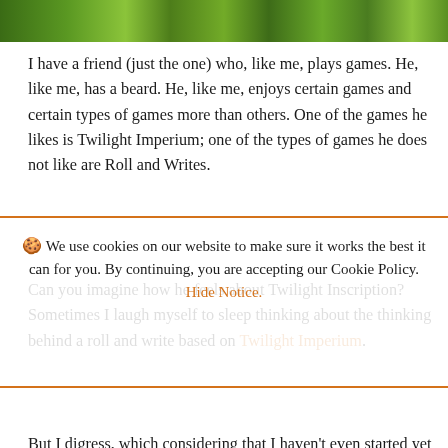[Figure (illustration): Colorful illustrated strip showing fantasy/gaming themed artwork with green and yellow hues, partially visible at top of page]
I have a friend (just the one) who, like me, plays games. He, like me, has a beard. He, like me, enjoys certain games and certain types of games more than others. One of the games he likes is Twilight Imperium; one of the types of games he does not like are Roll and Writes.
Can you imagine how he feels about Twilight Inscription? Sometimes I laugh myself to sleep thinking about the thinking behind a roll and write based on Twilight Imperium.
But I digress, which considering that I haven't even started yet is probably not a good sign. Considering that I
consider myself to be an okay sort of friend... sort of. It always...
epic Roll and Write... might be a bit too much too soon, but I might have found a gentler, more
accessible yet not completely basic entry to roll and
🍪 We use cookies on our website to make sure it works the best it can for you. By continuing, you are accepting our Cookie Policy. Hide Notice.